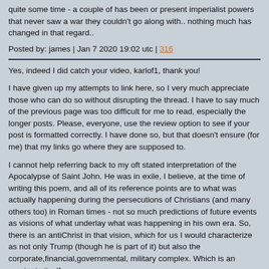quite some time - a couple of has been or present imperialist powers that never saw a war they couldn't go along with.. nothing much has changed in that regard..
Posted by: james | Jan 7 2020 19:02 utc | 316
Yes, indeed I did catch your video, karlof1, thank you!
I have given up my attempts to link here, so I very much appreciate those who can do so without disrupting the thread. I have to say much of the previous page was too difficult for me to read, especially the longer posts. Please, everyone, use the review option to see if your post is formatted correctly. I have done so, but that doesn't ensure (for me) that my links go where they are supposed to.
I cannot help referring back to my oft stated interpretation of the Apocalypse of Saint John. He was in exile, I believe, at the time of writing this poem, and all of its reference points are to what was actually happening during the persecutions of Christians (and many others too) in Roman times - not so much predictions of future events as visions of what underlay what was happening in his own era. So, there is an antiChrist in that vision, which for us I would characterize as not only Trump (though he is part of it) but also the corporate,financial,governmental, military complex. Which is an empire in itself.